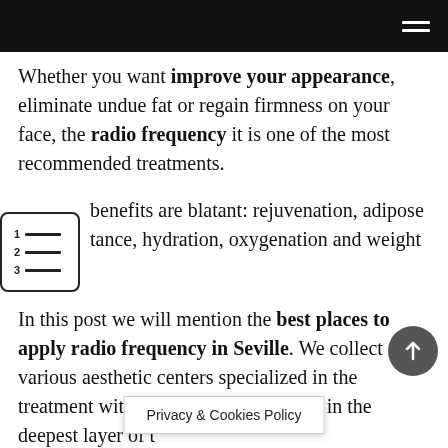Whether you want improve your appearance, eliminate undue fat or regain firmness on your face, the radio frequency it is one of the most recommended treatments.
The benefits are blatant: rejuvenation, adipose resistance, hydration, oxygenation and weight loss.
In this post we will mention the best places to apply radio frequency in Seville. We collect various aesthetic centers specialized in the treatment with electromagnetic waves in the deepest layer of th
Privacy & Cookies Policy